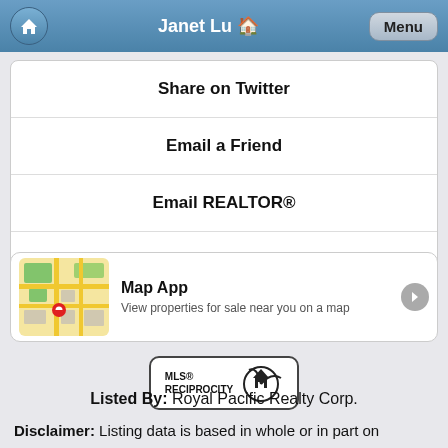Janet Lu 🏠 Menu
Share on Twitter
Email a Friend
Email REALTOR®
Call REALTOR®
[Figure (screenshot): Map App card with map thumbnail showing streets and a red pin marker. Title: Map App. Description: View properties for sale near you on a map]
[Figure (logo): MLS® RECIPROCITY logo with house icon]
Listed By: Royal Pacific Realty Corp.
Disclaimer: Listing data is based in whole or in part on